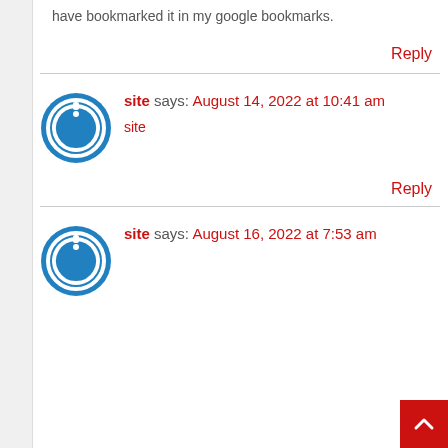have bookmarked it in my google bookmarks.
Reply
site says: August 14, 2022 at 10:41 am
site
Reply
site says: August 16, 2022 at 7:53 am